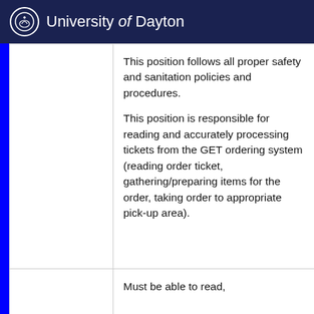University of Dayton
|  | This position follows all proper safety and sanitation policies and procedures.

This position is responsible for reading and accurately processing tickets from the GET ordering system (reading order ticket, gathering/preparing items for the order, taking order to appropriate pick-up area). |
|  | Must be able to read, |